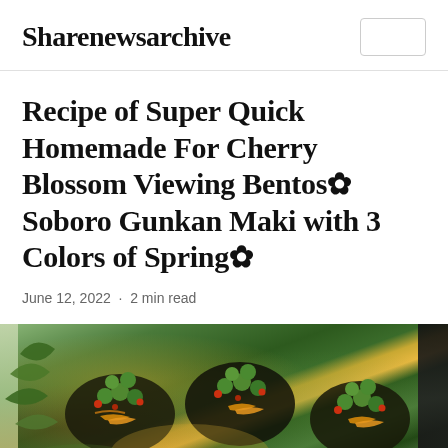Sharenewsarchive
Recipe of Super Quick Homemade For Cherry Blossom Viewing Bentos✿ Soboro Gunkan Maki with 3 Colors of Spring✿
June 12, 2022 · 2 min read
[Figure (photo): Close-up photo of Soboro Gunkan Maki sushi pieces garnished with green edamame, orange shredded egg, and red berry-like toppings on black nori wrappers, viewed from above at an angle]